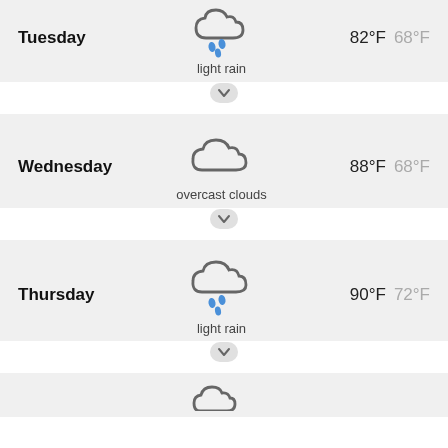[Figure (infographic): Tuesday weather row: light rain icon (cloud with rain drops), 82°F / 68°F]
[Figure (infographic): Wednesday weather row: overcast clouds icon, 88°F / 68°F]
[Figure (infographic): Thursday weather row: light rain icon (cloud with rain drops), 90°F / 72°F]
[Figure (infographic): Partial fourth day weather row at bottom]